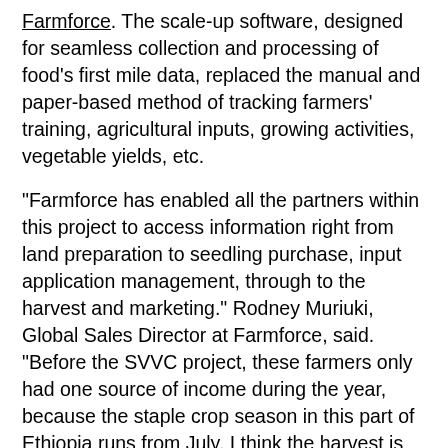Farmforce. The scale-up software, designed for seamless collection and processing of food's first mile data, replaced the manual and paper-based method of tracking farmers' training, agricultural inputs, growing activities, vegetable yields, etc.
“Farmforce has enabled all the partners within this project to access information right from land preparation to seedling purchase, input application management, through to the harvest and marketing.” Rodney Muriuki, Global Sales Director at Farmforce, said. “Before the SVVC project, these farmers only had one source of income during the year, because the staple crop season in this part of Ethiopia runs from July. I think the harvest is about in October or November, and so the income would come by the end of the year. By the second week of January, they do not have any more money and so the introduction of the vegetables for a